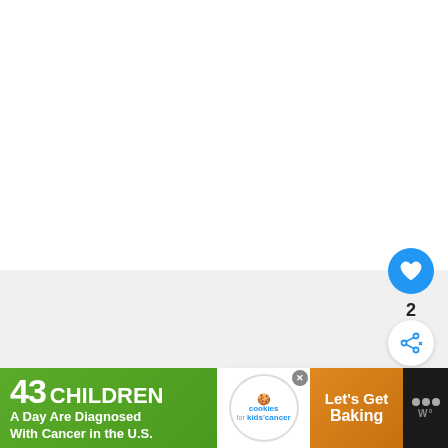[Figure (screenshot): White and light gray content area representing a webpage screenshot with empty main content]
[Figure (infographic): Blue circular like/favorite button with heart icon showing count of 2, and a white circular share button below]
2
[Figure (screenshot): What's Next card with thumbnail of landscape photo, label WHAT'S NEXT with arrow, and title text 'The Best Places to St...']
[Figure (infographic): Advertisement banner: black background with green section '43 CHILDREN A Day Are Diagnosed With Cancer in the U.S.', cookies for kids cancer logo, and 'Let's Get Baking' on orange-brown background, plus Merriam-Webster logo]